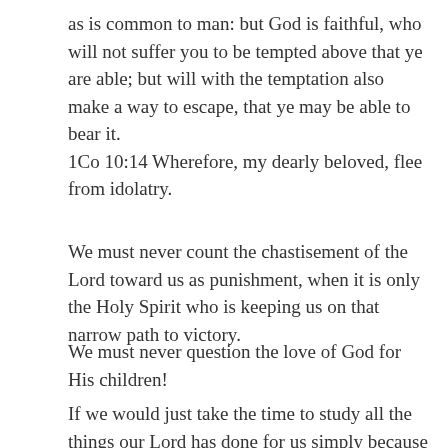as is common to man: but God is faithful, who will not suffer you to be tempted above that ye are able; but will with the temptation also make a way to escape, that ye may be able to bear it. 1Co 10:14 Wherefore, my dearly beloved, flee from idolatry.
We must never count the chastisement of the Lord toward us as punishment, when it is only the Holy Spirit who is keeping us on that narrow path to victory.
We must never question the love of God for His children!
If we would just take the time to study all the things our Lord has done for us simply because of His Great Love,